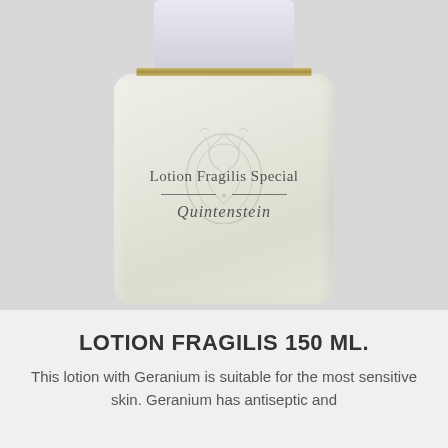[Figure (photo): A cream-colored square lotion bottle with white cap and gold band, branded 'Lotion Fragilis Special' by Quintenstein, with a decorative floral emblem embossed on the bottle body, photographed against a light grey background.]
LOTION FRAGILIS 150 ML.
This lotion with Geranium is suitable for the most sensitive skin. Geranium has antiseptic and